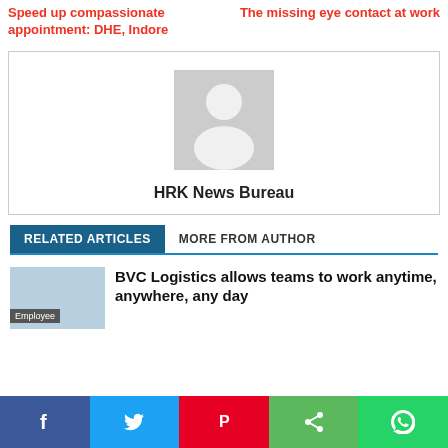Speed up compassionate appointment: DHE, Indore
The missing eye contact at work
[Figure (illustration): Author placeholder avatar with generic person silhouette on grey background]
HRK News Bureau
RELATED ARTICLES   MORE FROM AUTHOR
BVC Logistics allows teams to work anytime, anywhere, any day